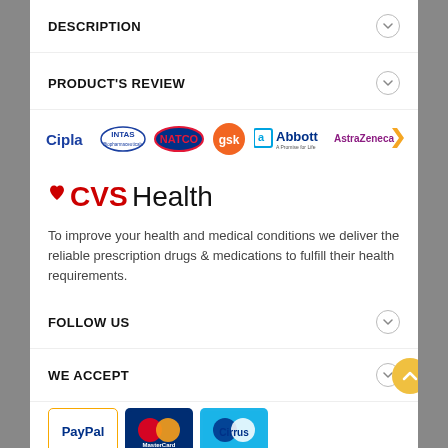DESCRIPTION
PRODUCT'S REVIEW
[Figure (logo): Pharmaceutical brand logos: Cipla, INTAS Biopharmaceuticals, NATCO, gsk, Abbott A Promise for Life, AstraZeneca]
[Figure (logo): CVS Health logo with red heart icon]
To improve your health and medical conditions we deliver the reliable prescription drugs & medications to fulfill their health requirements.
FOLLOW US
WE ACCEPT
[Figure (logo): Payment method logos: PayPal, MasterCard, Cirrus, Visa, Discover, Maestro]